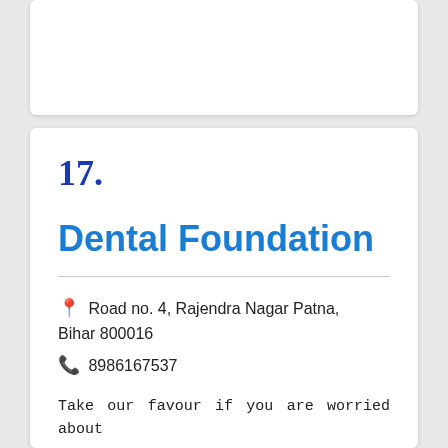17.
Dental Foundation
Road no. 4, Rajendra Nagar Patna, Bihar 800016
8986167537
Take our favour if you are worried about